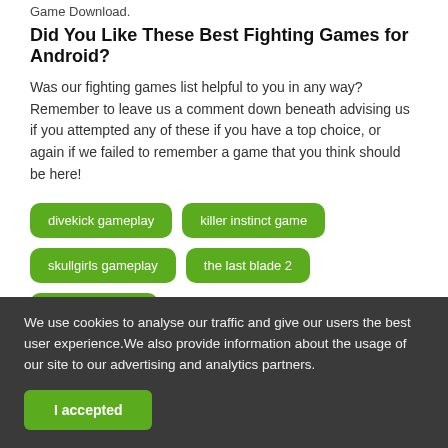Game Download.
Did You Like These Best Fighting Games for Android?
Was our fighting games list helpful to you in any way? Remember to leave us a comment down beneath advising us if you attempted any of these if you have a top choice, or again if we failed to remember a game that you think should be here!
divekick gameplay
killer instinct game
skullgirls gameplay
the last blade 2
zombrawl game
We use cookies to analyse our traffic and give our users the best user experience.We also provide information about the usage of our site to our advertising and analytics partners.